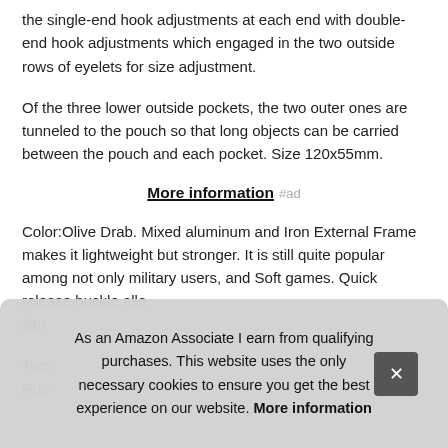the single-end hook adjustments at each end with double-end hook adjustments which engaged in the two outside rows of eyelets for size adjustment.
Of the three lower outside pockets, the two outer ones are tunneled to the pouch so that long objects can be carried between the pouch and each pocket. Size 120x55mm.
More information #ad
Color:Olive Drab. Mixed aluminum and Iron External Frame makes it lightweight but stronger. It is still quite popular among not only military users, and Soft games. Quick release buckle allow... situ...
Two... Ruc...
As an Amazon Associate I earn from qualifying purchases. This website uses the only necessary cookies to ensure you get the best experience on our website. More information